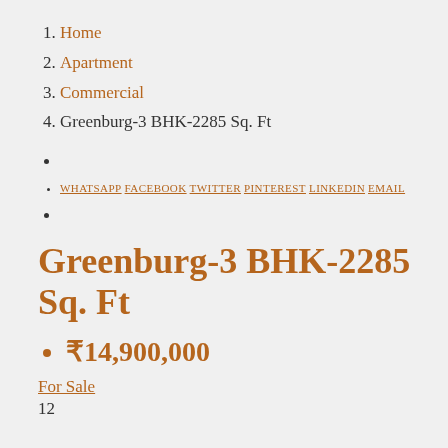1. Home
2. Apartment
3. Commercial
4. Greenburg-3 BHK-2285 Sq. Ft
WHATSAPP FACEBOOK TWITTER PINTEREST LINKEDIN EMAIL
Greenburg-3 BHK-2285 Sq. Ft
₹14,900,000
For Sale
12